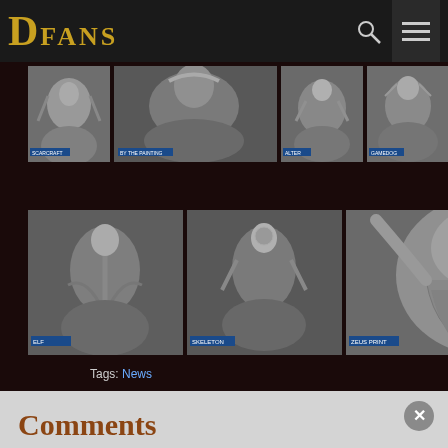DFANS
[Figure (photo): Grid of fantasy miniature figurine photos in black and white, row 1: 4 images of warrior/monster figures]
[Figure (photo): Grid of fantasy miniature figurine photos in black and white, row 2: 3 images including a large close-up of a bearded figure]
Tags: News
SHARE   20